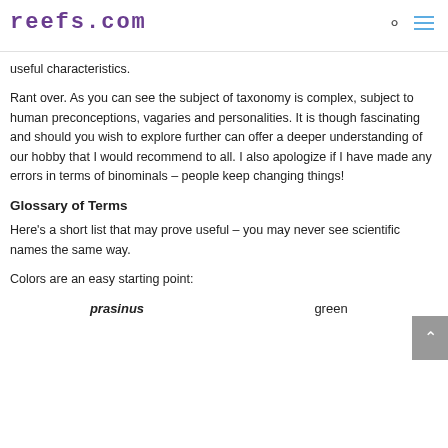reefs.com
useful characteristics.
Rant over. As you can see the subject of taxonomy is complex, subject to human preconceptions, vagaries and personalities. It is though fascinating and should you wish to explore further can offer a deeper understanding of our hobby that I would recommend to all. I also apologize if I have made any errors in terms of binominals – people keep changing things!
Glossary of Terms
Here's a short list that may prove useful – you may never see scientific names the same way.
Colors are an easy starting point:
| Latin | English |
| --- | --- |
| prasinus | green |